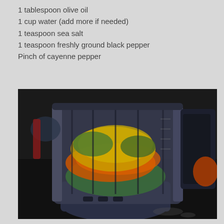1 tablespoon olive oil
1 cup water (add more if needed)
1 teaspoon sea salt
1 teaspoon freshly ground black pepper
Pinch of cayenne pepper
[Figure (photo): A blender jar filled with colorful vegetables including orange carrots, yellow and green pieces, viewed from above on a dark countertop surface.]